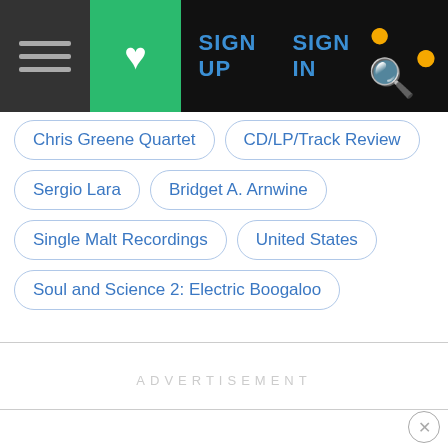[Figure (screenshot): Navigation bar with hamburger menu (dark gray), green heart/favorites button, SIGN UP and SIGN IN links in blue, and yellow search icon, all on black background]
Chris Greene Quartet
CD/LP/Track Review
Sergio Lara
Bridget A. Arnwine
Single Malt Recordings
United States
Soul and Science 2: Electric Boogaloo
ADVERTISEMENT